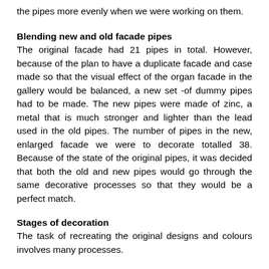the pipes more evenly when we were working on them.
Blending new and old facade pipes
The original facade had 21 pipes in total. However, because of the plan to have a duplicate facade and case made so that the visual effect of the organ facade in the gallery would be balanced, a new set -of dummy pipes had to be made. The new pipes were made of zinc, a metal that is much stronger and lighter than the lead used in the old pipes. The number of pipes in the new, enlarged facade we were to decorate totalled 38. Because of the state of the original pipes, it was decided that both the old and new pipes would go through the same decorative processes so that they would be a perfect match.
Stages of decoration
The task of recreating the original designs and colours involves many processes.
Firstly, the original colours have to be identified. This can take several hours of investigation, involving techniques such as paint scraping,